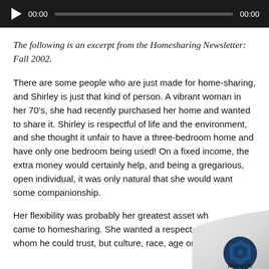[Figure (other): Audio player bar with play button, time display 00:00, progress track, and end time 00:00 on dark background]
The following is an excerpt from the Homesharing Newsletter: Fall 2002.
There are some people who are just made for home-sharing, and Shirley is just that kind of person. A vibrant woman in her 70's, she had recently purchased her home and wanted to share it. Shirley is respectful of life and the environment, and she thought it unfair to have a three-bedroom home and have only one bedroom being used! On a fixed income, the extra money would certainly help, and being a gregarious, open individual, it was only natural that she would want some companionship.
Her flexibility was probably her greatest asset wh came to homesharing. She wanted a respectabl whom he could trust, but culture, race, age or...